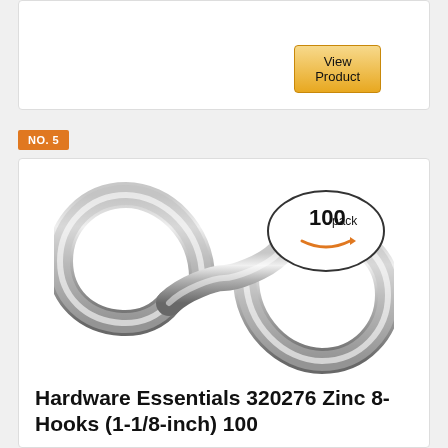View Product
NO. 5
[Figure (photo): Chrome S-hook shaped in a figure-8/infinity form, with a '100 pack' oval badge overlay in the top right corner featuring an Amazon arrow logo.]
Hardware Essentials 320276 Zinc 8-Hooks (1-1/8-inch) 100